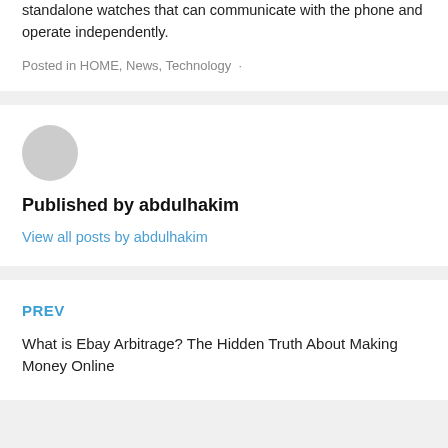standalone watches that can communicate with the phone and operate independently.
Posted in HOME, News, Technology ·
Published by abdulhakim
View all posts by abdulhakim
PREV
What is Ebay Arbitrage? The Hidden Truth About Making Money Online